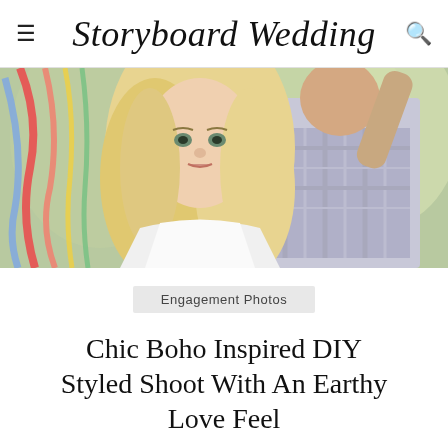Storyboard Wedding
[Figure (photo): A blonde woman in a white dress in the foreground with a man in a plaid shirt behind her, colorful ribbon streamers visible on the left side, outdoor setting with blurred green background.]
Engagement Photos
Chic Boho Inspired DIY Styled Shoot With An Earthy Love Feel